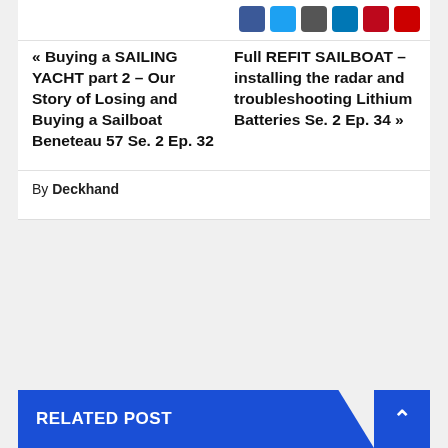« Buying a SAILING YACHT part 2 – Our Story of Losing and Buying a Sailboat Beneteau 57 Se. 2 Ep. 32
Full REFIT SAILBOAT – installing the radar and troubleshooting Lithium Batteries Se. 2 Ep. 34 »
By Deckhand
RELATED POST